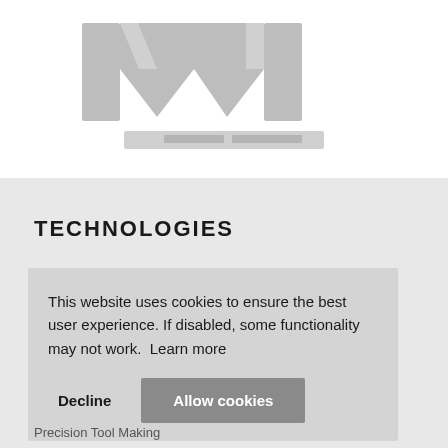[Figure (logo): Company logo with large 'M' letterform in gray and tagline text below]
TECHNOLOGIES
This website uses cookies to ensure the best user experience. If disabled, some functionality may not work.  Learn more
Decline   Allow cookies
Precision Tool Making